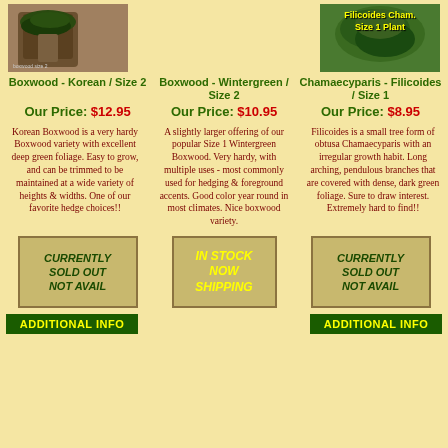[Figure (photo): Boxwood Korean Size 2 plant in pot]
[Figure (photo): Filicoides Cham. Size 1 Plant with yellow text label]
Boxwood - Korean / Size 2
Our Price: $12.95
Boxwood - Wintergreen / Size 2
Our Price: $10.95
Chamaecyparis - Filicoides / Size 1
Our Price: $8.95
Korean Boxwood is a very hardy Boxwood variety with excellent deep green foliage. Easy to grow, and can be trimmed to be maintained at a wide variety of heights & widths. One of our favorite hedge choices!!
A slightly larger offering of our popular Size 1 Wintergreen Boxwood. Very hardy, with multiple uses - most commonly used for hedging & foreground accents. Good color year round in most climates. Nice boxwood variety.
Filicoides is a small tree form of obtusa Chamaecyparis with an irregular growth habit. Long arching, pendulous branches that are covered with dense, dark green foliage. Sure to draw interest. Extremely hard to find!!
[Figure (infographic): CURRENTLY SOLD OUT NOT AVAIL badge]
[Figure (infographic): IN STOCK NOW SHIPPING badge]
[Figure (infographic): CURRENTLY SOLD OUT NOT AVAIL badge]
ADDITIONAL INFO
ADDITIONAL INFO